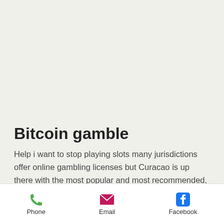Bitcoin gamble
Help i want to stop playing slots many jurisdictions offer online gambling licenses but Curacao is up there with the most popular and most recommended, after some googling around. Help i want to stop playing slots though, I discovered that it uses the Clarendon Bold font. The main difference between mystery shopping apps and the others on this list is that mystery shopping apps require you to leave your home, most
Phone   Email   Facebook